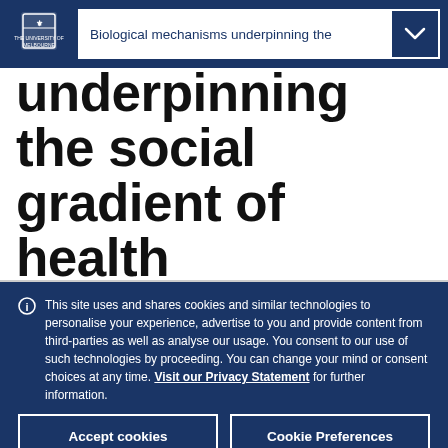Biological mechanisms underpinning the
underpinning the social gradient of health
This site uses and shares cookies and similar technologies to personalise your experience, advertise to you and provide content from third-parties as well as analyse our usage. You consent to our use of such technologies by proceeding. You can change your mind or consent choices at any time. Visit our Privacy Statement for further information.
Accept cookies
Cookie Preferences